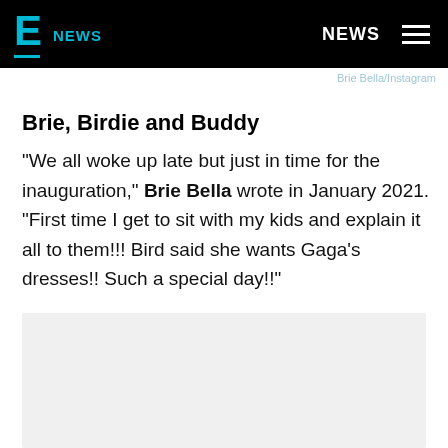E! NEWS | NEWS
Brie Bella/Instagram
Brie, Birdie and Buddy
"We all woke up late but just in time for the inauguration," Brie Bella wrote in January 2021. "First time I get to sit with my kids and explain it all to them!!! Bird said she wants Gaga's dresses!! Such a special day!!"
[Figure (other): Gray placeholder box at bottom of page]